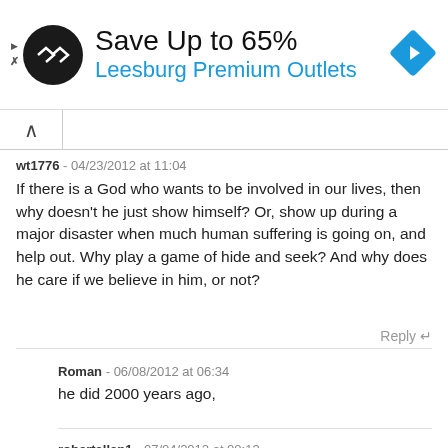[Figure (infographic): Advertisement banner: black circular logo with double-arrow symbol, text 'Save Up to 65%' in black and 'Leesburg Premium Outlets' in blue, blue diamond navigation icon on right]
wt1776 - 04/23/2012 at 11:04

If there is a God who wants to be involved in our lives, then why doesn't he just show himself? Or, show up during a major disaster when much human suffering is going on, and help out. Why play a game of hide and seek? And why does he care if we believe in him, or not?
Reply ↵
Roman - 06/08/2012 at 06:34

he did 2000 years ago,
robertallen1 - 07/04/2012 at 00:13